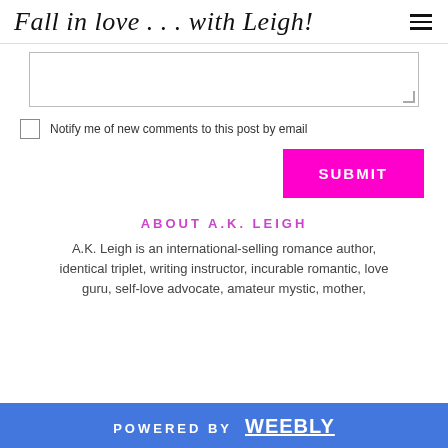Fall in love . . . with Leigh!
[Figure (other): Textarea input field with resize handle]
Notify me of new comments to this post by email
SUBMIT
ABOUT A.K. LEIGH
A.K. Leigh is an international-selling romance author, identical triplet, writing instructor, incurable romantic, love guru, self-love advocate, amateur mystic, mother,
POWERED BY weebly